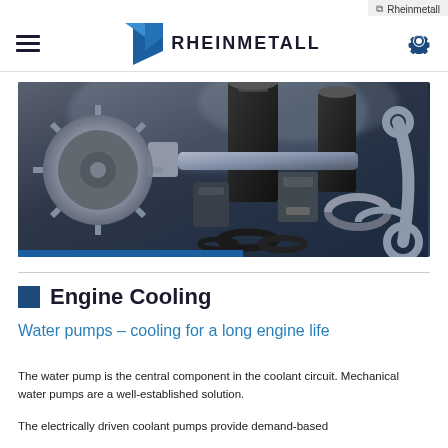Rheinmetall
[Figure (photo): Engine parts including crankshaft, gears, pistons, cylinder liners, and bearing shells arranged on a dark reflective surface with atmospheric steam/smoke, photograph for Rheinmetall Engine Cooling product page]
Engine Cooling
Water pumps – cooling for a long engine life
The water pump is the central component in the coolant circuit. Mechanical water pumps are a well-established solution.
The electrically driven coolant pumps provide demand-based